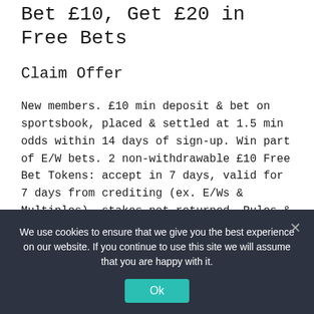Bet £10, Get £20 in Free Bets
Claim Offer
New members. £10 min deposit & bet on sportsbook, placed & settled at 1.5 min odds within 14 days of sign-up. Win part of E/W bets. 2 non-withdrawable £10 Free Bet Tokens: accept in 7 days, valid for 7 days from crediting (ex. E/Ws & Multiples), stakes not returned. Rules & Exclusions apply. Be Responsibly. BeGambleAware.org
We use cookies to ensure that we give you the best experience on our website. If you continue to use this site we will assume that you are happy with it.
Ok